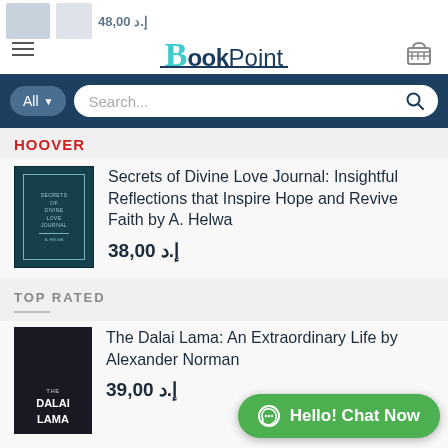[Figure (screenshot): BookPoint e-commerce website header with logo, hamburger menu, shopping cart icon, and partial book/price visible at top]
All  Search...
HOOVER
Secrets of Divine Love Journal: Insightful Reflections that Inspire Hope and Revive Faith by A. Helwa
د.إ 38,00
TOP RATED
The Dalai Lama: An Extraordinary Life by Alexander Norman
د.إ 39,00
Everything is F*ck... by Mark Manson
[Figure (other): Green WhatsApp chat button reading 'Hello! Chat Now']